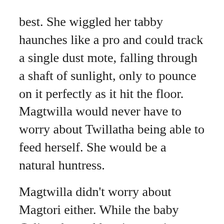best.  She wiggled her tabby haunches like a pro and could track a single dust mote, falling through a shaft of sunlight, only to pounce on it perfectly as it hit the floor.  Magtwilla would never have to worry about Twillatha being able to feed herself.  She would be a natural huntress.
Magtwilla didn't worry about Magtori either.  While the baby Calico showed less interest in hunting, preferring to stay cuddled close to her mother, a true mama's little kitten, she was wise and cautious beyond her age.  She listened closely with wide golden eyes — both to the lessons her mother told her and to the signs and tiny noises in the environment around her.  Her ears constantly tracked the sounds of